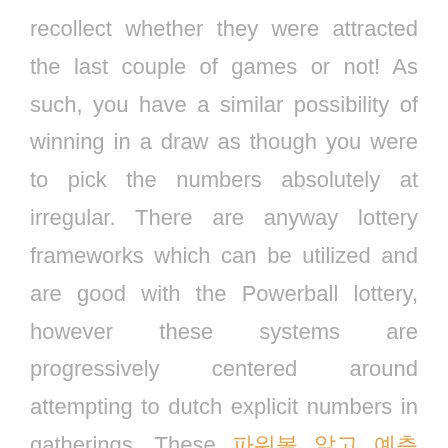recollect whether they were attracted the last couple of games or not! As such, you have a similar possibility of winning in a draw as though you were to pick the numbers absolutely at irregular. There are anyway lottery frameworks which can be utilized and are good with the Powerball lottery, however these systems are progressively centered around attempting to dutch explicit numbers in gatherings. These 파워볼 알고 예측 frameworks will target finishing your triumphant column in the event that you are sufficiently fortunate to get a few numbers right. These lottery methodologies can be unpredictable, yet are both